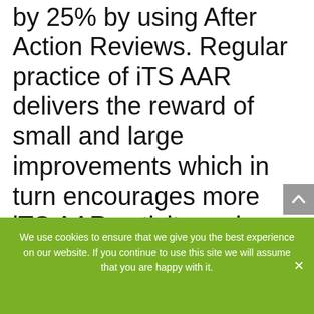by 25% by using After Action Reviews. Regular practice of iTS AAR delivers the reward of small and large improvements which in turn encourages more iTS AAR activity and a shift in mindset so that problems become opportunities for learning rather than burdens.
We use cookies to ensure that we give you the best experience on our website. If you continue to use this site we will assume that you are happy with it.